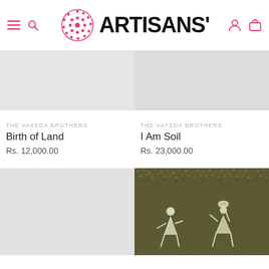[Figure (logo): Artisans' logo with pink mandala/sunburst circle and stylized black 'ARTISANS'' text]
[Figure (photo): Light gray placeholder image for 'Birth of Land' artwork]
THE VAYEDA BROTHERS
Birth of Land
Rs. 12,000.00
[Figure (photo): Light gray placeholder image for 'I Am Soil' artwork]
THE VAYEDA BROTHERS
I Am Soil
Rs. 23,000.00
[Figure (photo): Light gray placeholder image for a third product]
[Figure (photo): Warli-style art painting showing stick figures (Warli tribal art) in olive-green textured background]